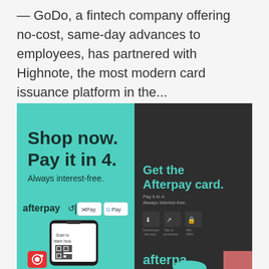— GoDo, a fintech company offering no-cost, same-day advances to employees, has partnered with Highnote, the most modern card issuance platform in the...
[Figure (photo): Photo of two Afterpay promotional displays side by side. Left: teal/mint background with text 'Shop now. Pay it in 4. Always interest-free.' with afterpay logo, Apple Pay and Google Pay buttons, and a phone showing a QR code. Right: dark background with text 'Get the Afterpay card. Pay it in 4. Always interest-free.' with QR code steps and afterpay logo.]